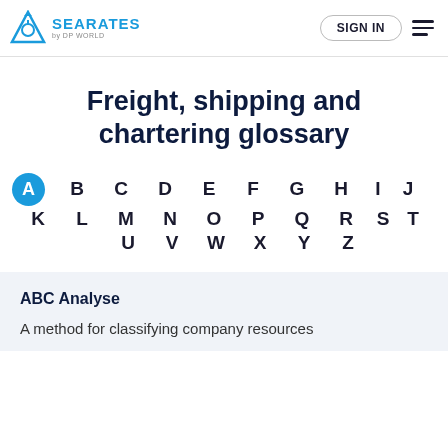SEARATES by DP WORLD | SIGN IN
Freight, shipping and chartering glossary
A B C D E F G H I J K L M N O P Q R S T U V W X Y Z
ABC Analyse
A method for classifying company resources